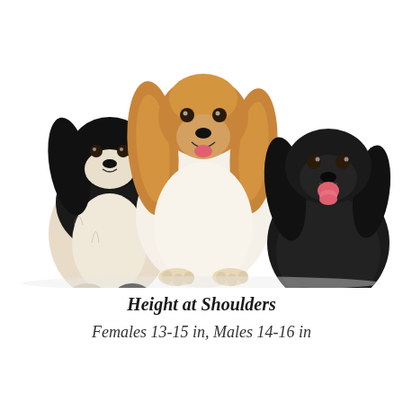[Figure (photo): Three Cocker Spaniel dogs sitting side by side on a white background. Left dog is black and white parti-color, center dog is golden/buff colored and tallest, right dog is solid black with tongue out.]
Height at Shoulders
Females 13-15 in, Males 14-16 in